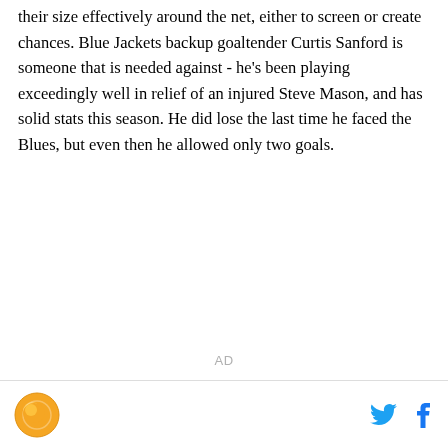their size effectively around the net, either to screen or create chances. Blue Jackets backup goaltender Curtis Sanford is someone that is needed against - he's been playing exceedingly well in relief of an injured Steve Mason, and has solid stats this season. He did lose the last time he faced the Blues, but even then he allowed only two goals.
[Figure (other): Advertisement placeholder with text 'AD']
Logo | Twitter icon | Facebook icon